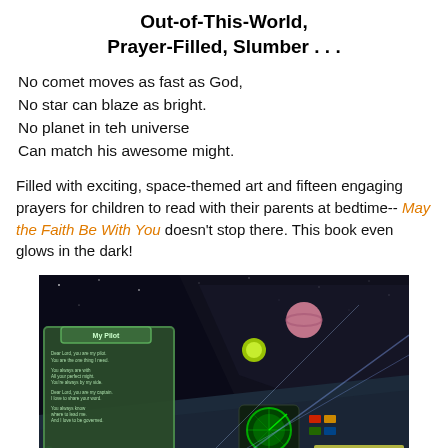Out-of-This-World, Prayer-Filled, Slumber . . .
No comet moves as fast as God,
No star can blaze as bright.
No planet in teh universe
Can match his awesome might.
Filled with exciting, space-themed art and fifteen engaging prayers for children to read with their parents at bedtime-- May the Faith Be With You doesn't stop there. This book even glows in the dark!
[Figure (illustration): Book interior illustration showing a space-themed cockpit scene with a prayer text panel titled 'My Pilot' on the left side over a dark space background with planets and starfighter cockpit controls.]